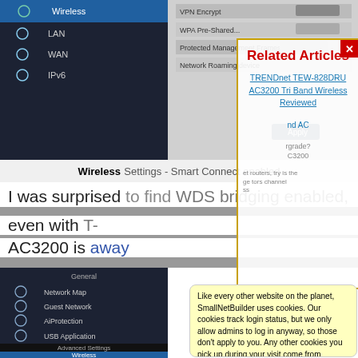[Figure (screenshot): Router admin interface screenshot showing wireless settings with sidebar navigation including LAN, WAN, IPv6, and various menu items like Network Map, Guest Network, AiProtection, Adaptive QoS, Traffic Analyzer, USB Application, AiCloud 2.0, Advanced Settings, Wireless]
Wireless Settings
I was surprised to find WDS bridging enabled, even with the T-away AC3200 is support W AC3200
[Figure (screenshot): Related Articles overlay panel with TRENDnet TEW-828DRU AC3200 Tri Band Wireless Reviewed link in teal/blue, and AC grade upgrade AC3200 text, with an X close button in red]
Related Articles
TRENDnet TEW-828DRU AC3200 Tri Band Wireless Reviewed
Like every other website on the planet, SmallNetBuilder uses cookies. Our cookies track login status, but we only allow admins to log in anyway, so those don't apply to you. Any other cookies you pick up during your visit come from advertisers, which we don't control.
If you continue to use the site, you agree to tolerate our use of cookies. Thank you!